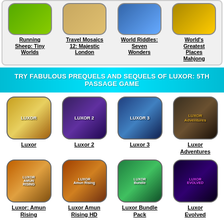[Figure (screenshot): Top game icons: Running Sheep Tiny Worlds, Travel Mosaics 12 Majestic London, World Riddles Seven Wonders, World's Greatest Places Mahjong]
Running Sheep: Tiny Worlds
Travel Mosaics 12: Majestic London
World Riddles: Seven Wonders
World's Greatest Places Mahjong
TRY FABULOUS PREQUELS AND SEQUELS OF LUXOR: 5TH PASSAGE GAME
[Figure (screenshot): Luxor game series icons row 1: Luxor, Luxor 2, Luxor 3, Luxor Adventures]
Luxor
Luxor 2
Luxor 3
Luxor Adventures
[Figure (screenshot): Luxor game series icons row 2: Luxor: Amun Rising, Luxor Amun Rising HD, Luxor Bundle Pack, Luxor Evolved]
Luxor: Amun Rising
Luxor Amun Rising HD
Luxor Bundle Pack
Luxor Evolved
[Figure (screenshot): Partial row of more game icons at bottom (cropped)]